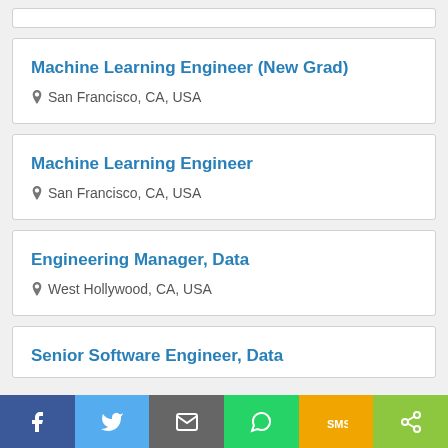Machine Learning Engineer (New Grad)
San Francisco, CA, USA
Machine Learning Engineer
San Francisco, CA, USA
Engineering Manager, Data
West Hollywood, CA, USA
Senior Software Engineer, Data